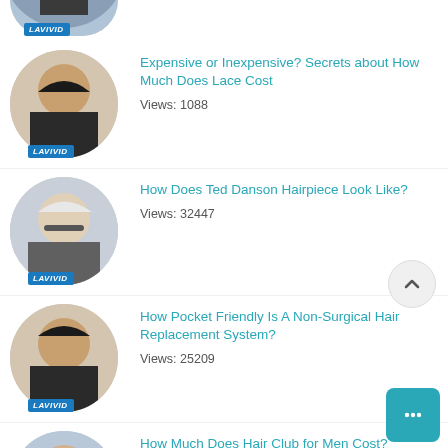[Figure (photo): Partial circular thumbnail with LAVIVID badge at top of page]
Expensive or Inexpensive? Secrets about How Much Does Lace Cost
Views: 1088
How Does Ted Danson Hairpiece Look Like?
Views: 32447
How Pocket Friendly Is A Non-Surgical Hair Replacement System?
Views: 25209
How Much Does Hair Club for Men Cost?
Views: 14110